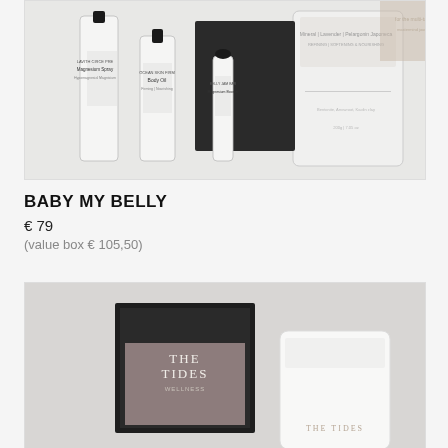[Figure (photo): Product photo showing skincare/wellness bottles and pouches including a Magnesium Spray, Body Oil, and other items arranged on a white background with a black box]
BABY MY BELLY
€ 79
(value box € 105,50)
[Figure (photo): Product photo showing 'The Tides' wellness book with dark cover and a white branded pouch on a grey background]